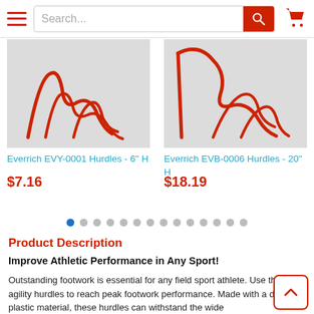Navigation header with hamburger menu, search bar, and shopping cart
[Figure (photo): Everrich EVY-0001 agility hurdles product photo showing red rope hurdles]
Everrich EVY-0001 Hurdles - 6" H
$7.16
[Figure (photo): Everrich EVB-0006 agility hurdles product photo showing larger red rope hurdles]
Everrich EVB-0006 Hurdles - 20" H
$18.19
Product Description
Improve Athletic Performance in Any Sport!
Outstanding footwork is essential for any field sport athlete. Use the agility hurdles to reach peak footwork performance. Made with a durable plastic material, these hurdles can withstand the wide